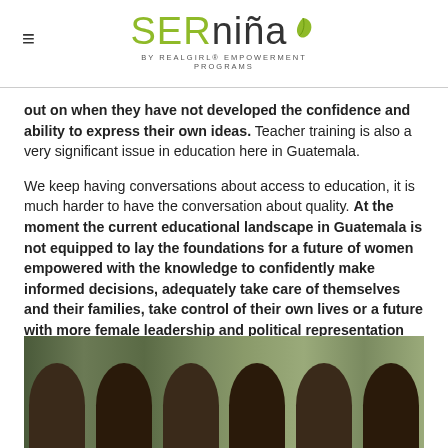SERniña BY REALgirl® EMPOWERMENT PROGRAMS
out on when they have not developed the confidence and ability to express their own ideas. Teacher training is also a very significant issue in education here in Guatemala.

We keep having conversations about access to education, it is much harder to have the conversation about quality. At the moment the current educational landscape in Guatemala is not equipped to lay the foundations for a future of women empowered with the knowledge to confidently make informed decisions, adequately take care of themselves and their families, take control of their own lives or a future with more female leadership and political representation across society.
[Figure (photo): Group photo of young girls smiling outdoors with green trees in background]